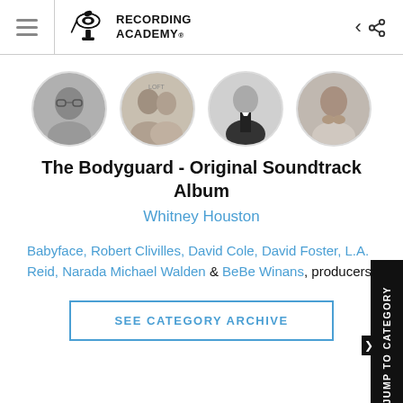Recording Academy
[Figure (photo): Four circular artist portrait photos in a row]
The Bodyguard - Original Soundtrack Album
Whitney Houston
Babyface, Robert Clivilles, David Cole, David Foster, L.A. Reid, Narada Michael Walden & BeBe Winans, producers
SEE CATEGORY ARCHIVE